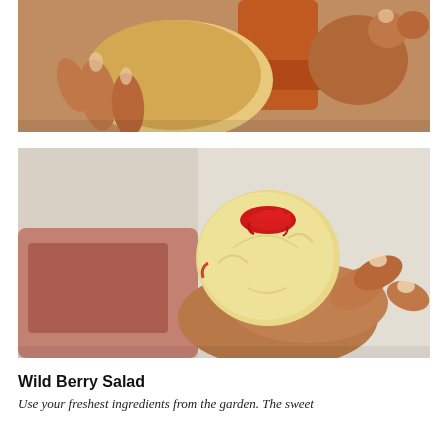[Figure (photo): Close-up of hands holding a round bread roll and pressing an orange/terracotta colored cylindrical cookie cutter or mold into it. Warm brown and orange tones. Food preparation step.]
[Figure (photo): Close-up of a hand holding a small round ball of pale yellow dough or bread with red sauce/filling on top and spilling down the sides. Blurred red and brown background. Food preparation step.]
Wild Berry Salad
Use your freshest ingredients from the garden. The sweet